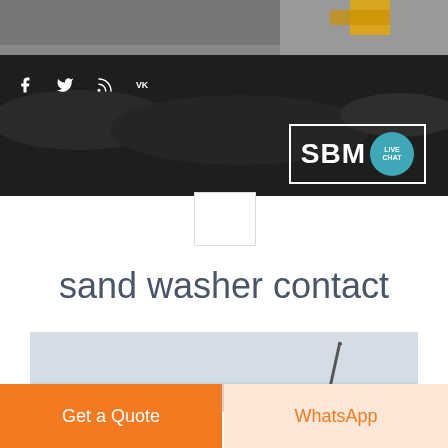[Figure (photo): Dark industrial/mining site aerial photo used as header background with construction equipment visible]
[Figure (logo): SBM logo in white text inside a white border rectangle with a teal live chat speech bubble icon]
[Figure (infographic): Social media icons (Facebook, Twitter, RSS, VK) in white on dark header background]
sand washer contact
[Figure (photo): Light gray sky with a crane arm visible on the right side]
Get a Quote
WhatsApp